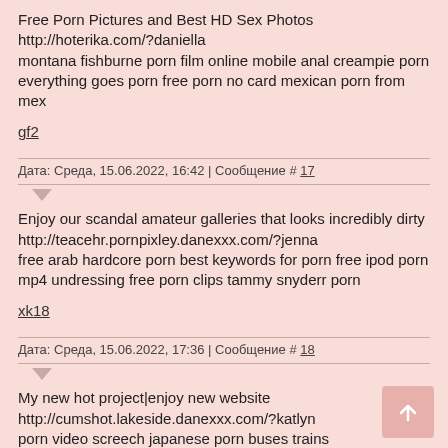Free Porn Pictures and Best HD Sex Photos
http://hoterika.com/?daniella
montana fishburne porn film online mobile anal creampie porn
everything goes porn free porn no card mexican porn from mex
gf2
Дата: Среда, 15.06.2022, 16:42 | Сообщение # 17
Enjoy our scandal amateur galleries that looks incredibly dirty
http://teacehr.pornpixley.danexxx.com/?jenna
free arab hardcore porn best keywords for porn free ipod porn
mp4 undressing free porn clips tammy snyderr porn
xk18
Дата: Среда, 15.06.2022, 17:36 | Сообщение # 18
My new hot project|enjoy new website
http://cumshot.lakeside.danexxx.com/?katlyn
porn video screech japanese porn buses trains angelina jolie porn
video download teen sex porn tube you porn girl sex video